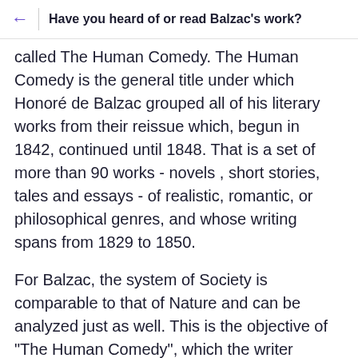Have you heard of or read Balzac's work?
called The Human Comedy. The Human Comedy is the general title under which Honoré de Balzac grouped all of his literary works from their reissue which, begun in 1842, continued until 1848. That is a set of more than 90 works - novels , short stories, tales and essays - of realistic, romantic, or philosophical genres, and whose writing spans from 1829 to 1850.
For Balzac, the system of Society is comparable to that of Nature and can be analyzed just as well. This is the objective of "The Human Comedy", which the writer proposes to achieve thanks to a construction in three parts: "The Studies of manners", the most important, "The Philosophical Studies" and The